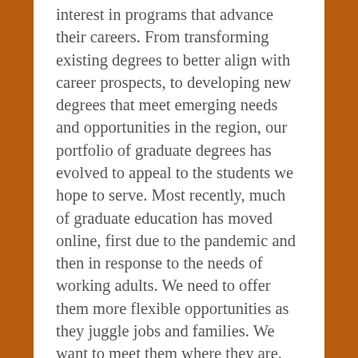interest in programs that advance their careers. From transforming existing degrees to better align with career prospects, to developing new degrees that meet emerging needs and opportunities in the region, our portfolio of graduate degrees has evolved to appeal to the students we hope to serve. Most recently, much of graduate education has moved online, first due to the pandemic and then in response to the needs of working adults. We need to offer them more flexible opportunities as they juggle jobs and families. We want to meet them where they are. We want to serve all students. This, too, arose from detailed looks at data, including enrollment patterns, student feedback to our programs, and analysis of regional workforce needs. While this approach to curriculum may feel a bit more career focused and less idea focused than we like to imagine, I remind myself that graduate education has nearly always been about careers (advanced credentials or the path to a doctorate) and it has never been devoid of ideas. We are